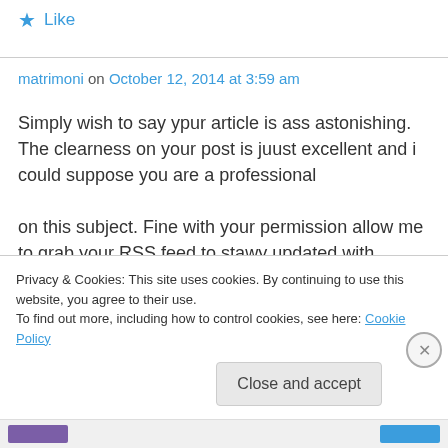★ Like
matrimoni on October 12, 2014 at 3:59 am
Simply wish to say ypur article is ass astonishing. The clearness on your post is juust excellent and i could suppose you are a professional on this subject. Fine with your permission allow me to grab your RSS feed to stawy updated with
Privacy & Cookies: This site uses cookies. By continuing to use this website, you agree to their use.
To find out more, including how to control cookies, see here: Cookie Policy
Close and accept